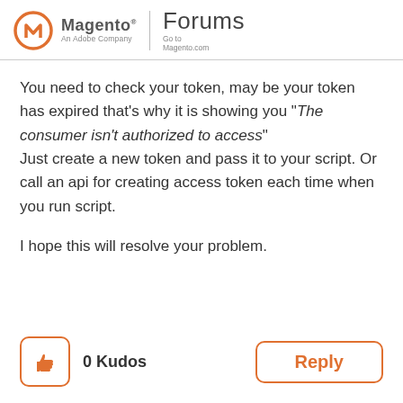Magento® An Adobe Company | Forums | Go to Magento.com
You need to check your token, may be your token has expired that's why it is showing you "The consumer isn't authorized to access"
Just create a new token and pass it to your script. Or call an api for creating access token each time when  you run script.

I hope this will resolve your problem.
0 Kudos
Reply